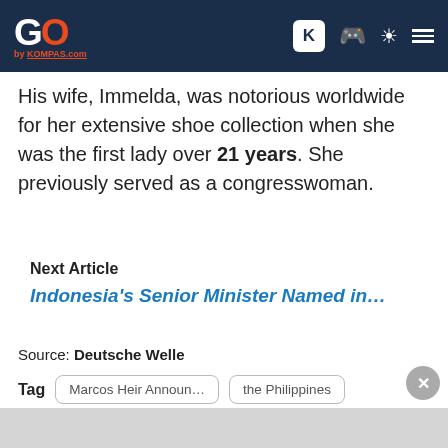GO by KOMPAS.com — navigation bar with logo and icons
His wife, Immelda, was notorious worldwide for her extensive shoe collection when she was the first lady over 21 years. She previously served as a congresswoman.
Next Article
Indonesia's Senior Minister Named in…
Source: Deutsche Welle
Tag  Marcos Heir Announ…  the Philippines  President Rodrigo Du…
Latest Video